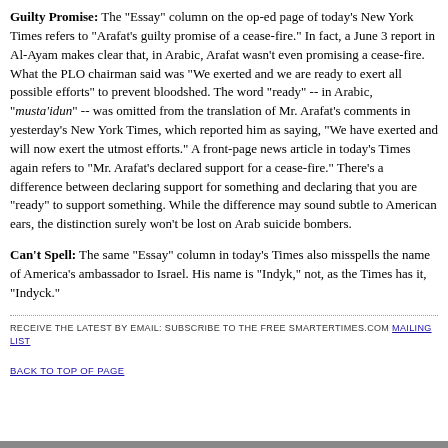Guilty Promise: The "Essay" column on the op-ed page of today's New York Times refers to "Arafat's guilty promise of a cease-fire." In fact, a June 3 report in Al-Ayam makes clear that, in Arabic, Arafat wasn't even promising a cease-fire. What the PLO chairman said was "We exerted and we are ready to exert all possible efforts" to prevent bloodshed. The word "ready" -- in Arabic, "musta'idun" -- was omitted from the translation of Mr. Arafat's comments in yesterday's New York Times, which reported him as saying, "We have exerted and will now exert the utmost efforts." A front-page news article in today's Times again refers to "Mr. Arafat's declared support for a cease-fire." There's a difference between declaring support for something and declaring that you are "ready" to support something. While the difference may sound subtle to American ears, the distinction surely won't be lost on Arab suicide bombers.
Can't Spell: The same "Essay" column in today's Times also misspells the name of America's ambassador to Israel. His name is "Indyk," not, as the Times has it, "Indyck."
RECEIVE THE LATEST BY EMAIL: SUBSCRIBE TO THE FREE SMARTERTIMES.COM MAILING LIST
BACK TO TOP OF PAGE